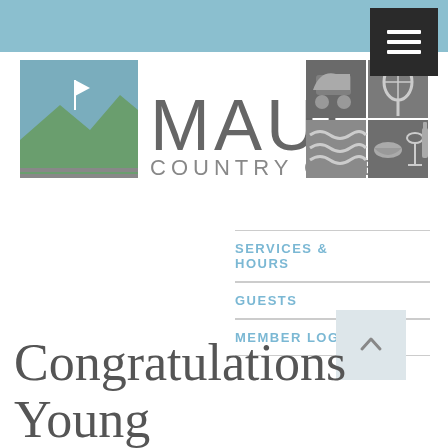[Figure (logo): Maui Country Club logo with landscape illustration, golf cart, tennis racket, waves, and dining icons]
SERVICES & HOURS
GUESTS
MEMBER LOGIN
Congratulations Young